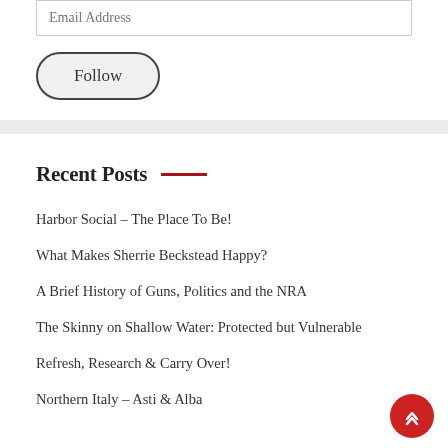Email Address
Follow
Recent Posts
Harbor Social – The Place To Be!
What Makes Sherrie Beckstead Happy?
A Brief History of Guns, Politics and the NRA
The Skinny on Shallow Water: Protected but Vulnerable
Refresh, Research & Carry Over!
Northern Italy – Asti & Alba